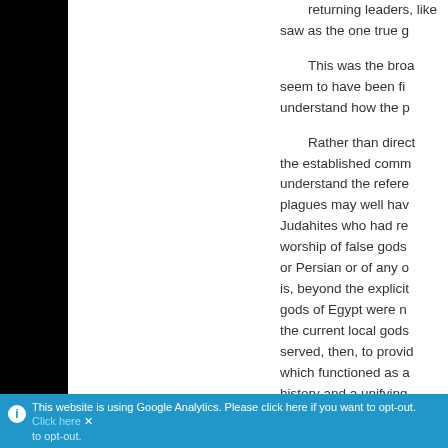returning leaders, like saw as the one true g
This was the broa seem to have been fi understand how the p
Rather than direct the established comm understand the refere plagues may well hav Judahites who had re worship of false gods or Persian or of any o is, beyond the explicit gods of Egypt were n the current local gods served, then, to provid which functioned as a history and a unifying
Myth based Judais best, a compassionate from bondage serves reminder to those of u slavery might have be stranger in a strange l mentioned, we remov sweetness of the Isra
This website is using Google Analytics. Please click here if you want to opt-out. Click here to opt-out.